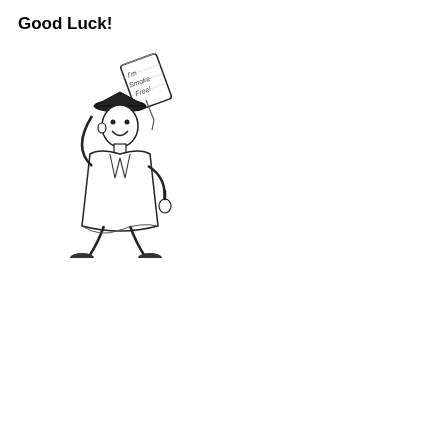Good Luck!
[Figure (illustration): Cartoon of a smiling graduate in cap and gown holding a diploma that reads 'I'm Smoke Free!' and walking cheerfully.]
| STEP 1 | STEP 2 | STEP 3 |
| --- | --- | --- |
| Weeks 1 to 6
1 piece every
1 to 2 hours | Weeks 7 to 9
1 piece every
2 to 4 hours | Weeks 10 to 12
1 piece every
4 to 8 hours |